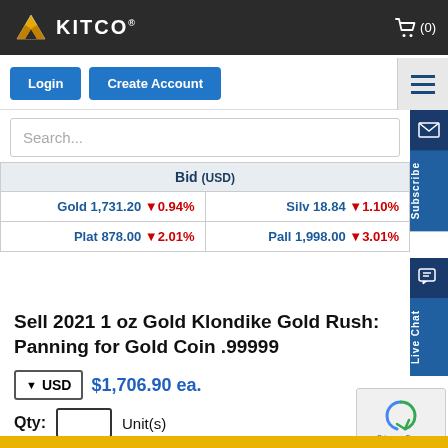KITCO
Login  Create Account
Search...
| Bid (USD) |  |
| --- | --- |
| Gold  1,731.20  ▼0.94% | Silv  18.84  ▼1.10% |
| Plat  878.00  ▼2.01% | Pall  1,998.00  ▼3.01% |
Sell 2021 1 oz Gold Klondike Gold Rush: Panning for Gold Coin .99999
▼USD  $1,706.90 ea.
Qty:   Unit(s)
Add to cart